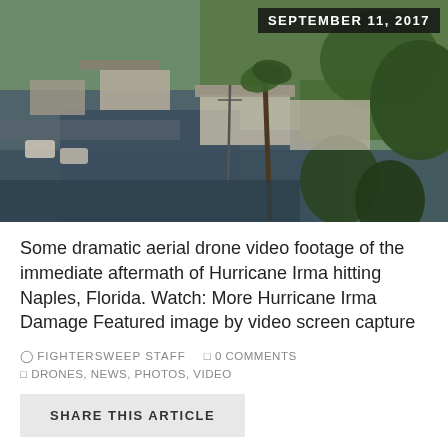[Figure (photo): Aerial drone view of flooded neighborhood in Naples, Florida after Hurricane Irma. Shows flooded streets, houses, trees, and cars submerged in water. Date stamp 'SEPTEMBER 11, 2017' in upper right corner.]
Some dramatic aerial drone video footage of the immediate aftermath of Hurricane Irma hitting Naples, Florida. Watch: More Hurricane Irma Damage Featured image by video screen capture
FIGHTERSWEEP STAFF   0 COMMENTS
DRONES, NEWS, PHOTOS, VIDEO
SHARE THIS ARTICLE
[Figure (photo): Partially visible second photo at the bottom of the page, appears to be another scene from hurricane coverage, mostly gray/white.]